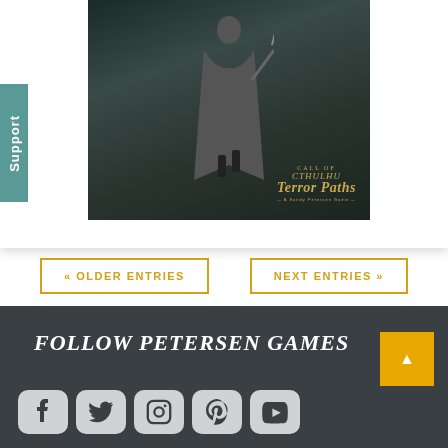[Figure (photo): Game promotional image for Call of Cthulhu: Terror Paths showing a dark-cloaked figure with a sword, with golden game logo in bottom right corner]
Support
« OLDER ENTRIES
NEXT ENTRIES »
FOLLOW PETERSEN GAMES
[Figure (illustration): Row of social media icons: Facebook, Twitter, Instagram, Pinterest, YouTube on rounded square grey backgrounds]